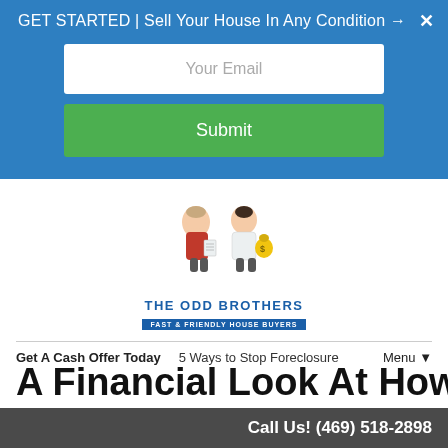GET STARTED | Sell Your House In Any Condition →  ✕
[Figure (other): Email input field with placeholder text 'Your Email' and a green Submit button below, on blue background]
[Figure (logo): The Odd Brothers - Fast & Friendly House Buyers logo with cartoon illustration of two men]
Get A Cash Offer Today   5 Ways to Stop Foreclosure   Menu ▼
A Financial Look At How
Call Us! (469) 518-2898